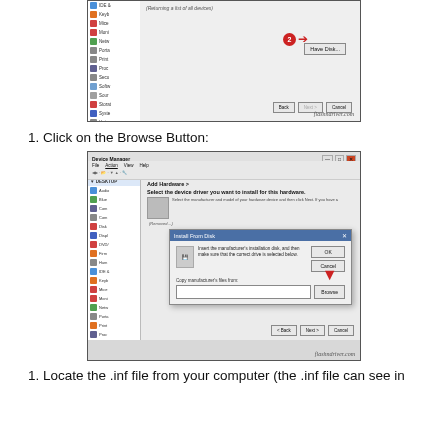[Figure (screenshot): Device Manager window showing 'Have Disk...' button highlighted with a red circled number 2 and arrow, along with Back, Next, and Cancel buttons at the bottom. Watermark: flashndriver.com]
1. Click on the Browse Button:
[Figure (screenshot): Device Manager window with 'Install From Disk' dialog open, showing 'Copy manufacturer's files from:' field with Browse button highlighted by a red downward arrow. Watermark: flashndriver.com]
1. Locate the .inf file from your computer (the .inf file can see in